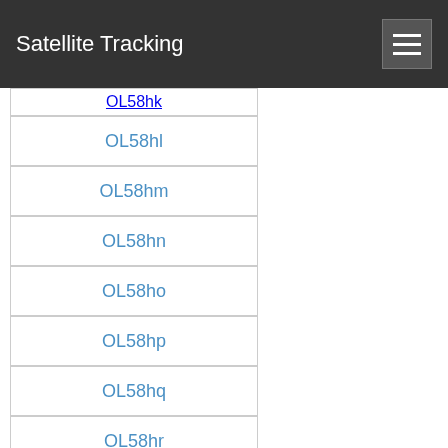Satellite Tracking
OL58hk
OL58hl
OL58hm
OL58hn
OL58ho
OL58hp
OL58hq
OL58hr
OL58hs
OL58ht
OL58hu
OL58hv
OL58hw
OL58hx
OL58ia
OL58ib
OL58ic
OL58id